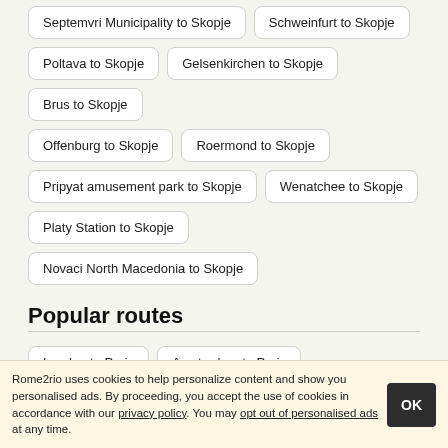Septemvri Municipality to Skopje
Schweinfurt to Skopje
Poltava to Skopje
Gelsenkirchen to Skopje
Brus to Skopje
Offenburg to Skopje
Roermond to Skopje
Pripyat amusement park to Skopje
Wenatchee to Skopje
Platy Station to Skopje
Novaci North Macedonia to Skopje
Popular routes
London to Paris
Amsterdam to Paris
Barcelona to Madrid
Barcelona to Seville
Berlin to Prague
Chicago to London
Rome2rio uses cookies to help personalize content and show you personalised ads. By proceeding, you accept the use of cookies in accordance with our privacy policy. You may opt out of personalised ads at any time.